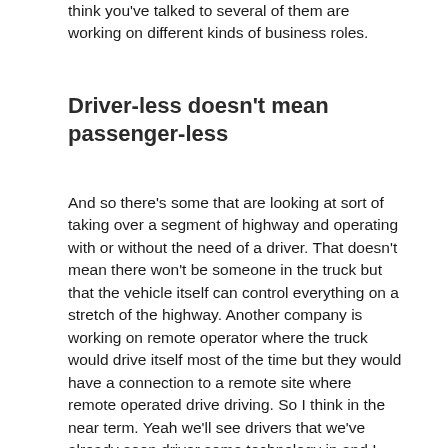think you've talked to several of them are working on different kinds of business roles.
Driver-less doesn't mean passenger-less
And so there's some that are looking at sort of taking over a segment of highway and operating with or without the need of a driver. That doesn't mean there won't be someone in the truck but that the vehicle itself can control everything on a stretch of the highway. Another company is working on remote operator where the truck would drive itself most of the time but they would have a connection to a remote site where remote operated drive driving. So I think in the near term. Yeah we'll see drivers that we've already seen driver some technology in and I think in the future that will continue to develop as